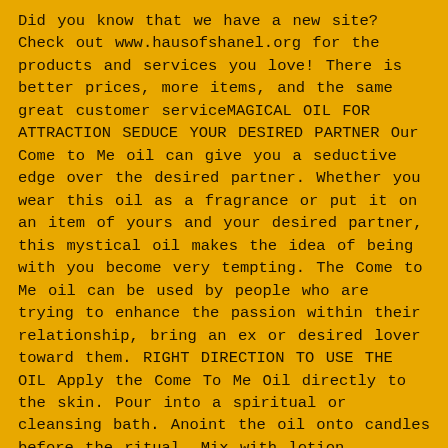Did you know that we have a new site? Check out www.hausofshanel.org for the products and services you love! There is better prices, more items, and the same great customer serviceMAGICAL OIL FOR ATTRACTION SEDUCE YOUR DESIRED PARTNER Our Come to Me oil can give you a seductive edge over the desired partner. Whether you wear this oil as a fragrance or put it on an item of yours and your desired partner, this mystical oil makes the idea of being with you become very tempting. The Come to Me oil can be used by people who are trying to enhance the passion within their relationship, bring an ex or desired lover toward them. RIGHT DIRECTION TO USE THE OIL Apply the Come To Me Oil directly to the skin. Pour into a spiritual or cleansing bath. Anoint the oil onto candles before the ritual. Mix with lotion, perfume, or other fragrances to wear daily. Anoint lodestone or other love objects for magic work. This mystical oil helps draw love opportunities toward you. It can also improve luck in love in general (even if they have no one in mind). PAIR WITH OUR CANDLE FOR MORE BENEFITS This Come To Me Oil can be used to reinforce the spiritual properties of the Come to Me